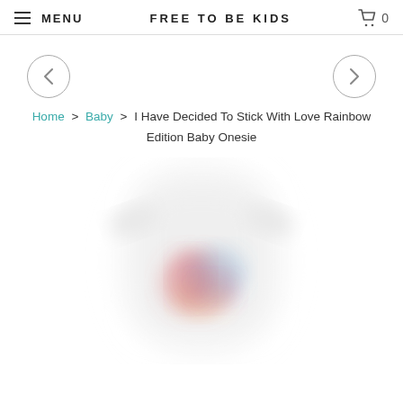MENU  FREE TO BE KIDS  0
[Figure (screenshot): Left arrow navigation button (circle with <) and right arrow navigation button (circle with >)]
Home > Baby > I Have Decided To Stick With Love Rainbow Edition Baby Onesie
[Figure (photo): Blurred/loading product image of a baby onesie with rainbow colored design on white background]